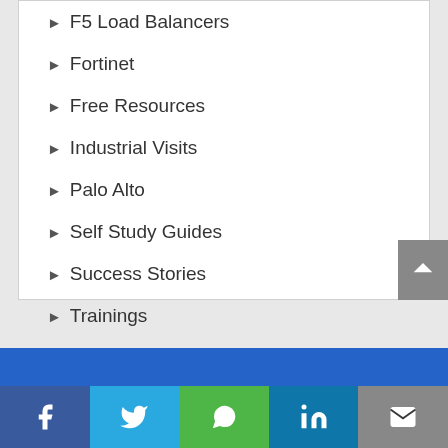F5 Load Balancers
Fortinet
Free Resources
Industrial Visits
Palo Alto
Self Study Guides
Success Stories
Trainings
Uncategorized
VPN Free Study Material